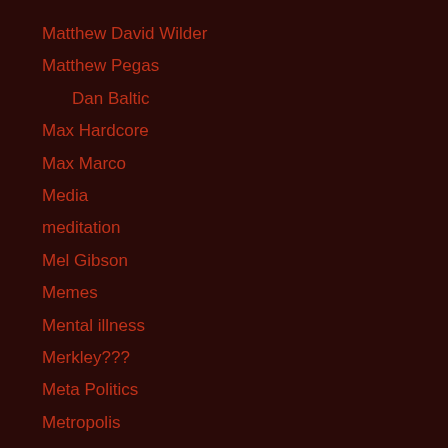Matthew David Wilder
Matthew Pegas
Dan Baltic
Max Hardcore
Max Marco
Media
meditation
Mel Gibson
Memes
Mental illness
Merkley???
Meta Politics
Metropolis
Mexico
Miami